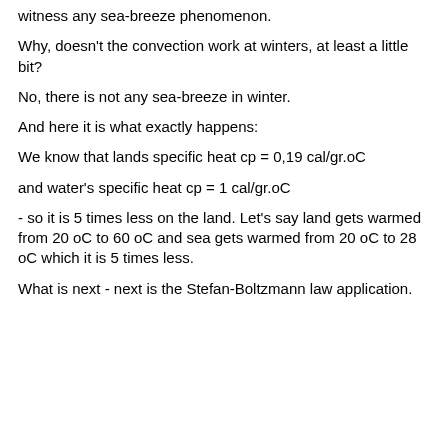witness any sea-breeze phenomenon.
Why, doesn't the convection work at winters, at least a little bit?
No, there is not any sea-breeze in winter.
And here it is what exactly happens:
We know that lands specific heat cp = 0,19 cal/gr.oC
and water's specific heat cp = 1 cal/gr.oC
- so it is 5 times less on the land. Let's say land gets warmed from 20 oC to 60 oC and sea gets warmed from 20 oC to 28 oC which it is 5 times less.
What is next - next is the Stefan-Boltzmann law application.